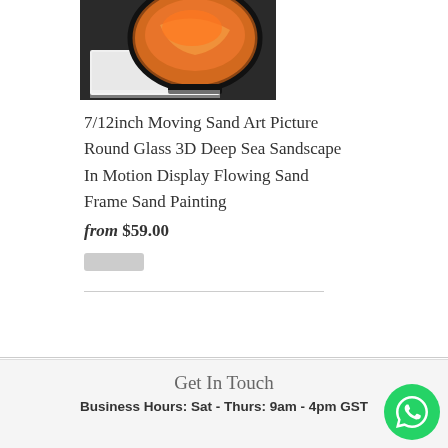[Figure (photo): Product photo of a sand art picture with round glass frame showing an orange/brown sand landscape design, placed on white surface]
7/12inch Moving Sand Art Picture Round Glass 3D Deep Sea Sandscape In Motion Display Flowing Sand Frame Sand Painting
from $59.00
Get In Touch
Business Hours: Sat - Thurs: 9am - 4pm GST